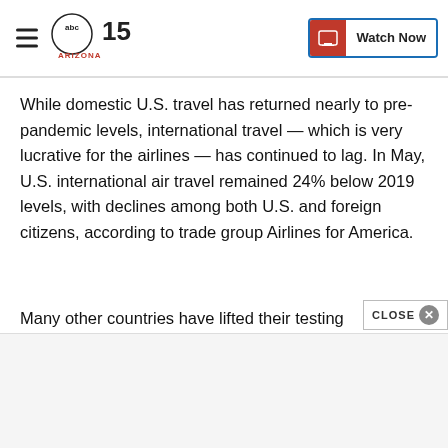ABC15 Arizona — Watch Now
While domestic U.S. travel has returned nearly to pre-pandemic levels, international travel — which is very lucrative for the airlines — has continued to lag. In May, U.S. international air travel remained 24% below 2019 levels, with declines among both U.S. and foreign citizens, according to trade group Airlines for America.
Many other countries have lifted their testing requirements for fully vaccinated and boosted travelers in a bid to increase tourism.